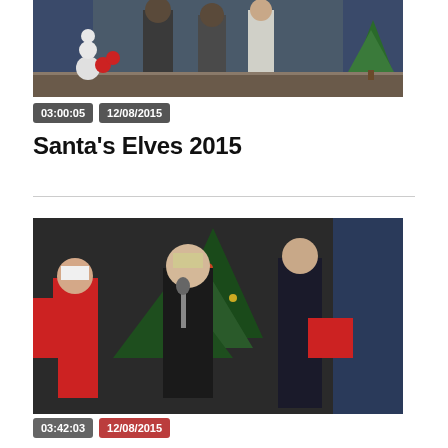[Figure (photo): Christmas event photo showing people standing on a stage with holiday decorations including a Christmas tree and snowman]
03:00:05  12/08/2015
Santa's Elves 2015
[Figure (photo): Christmas event photo showing people including a woman in red and others near a Christmas tree backdrop]
03:42:03  12/08/2015